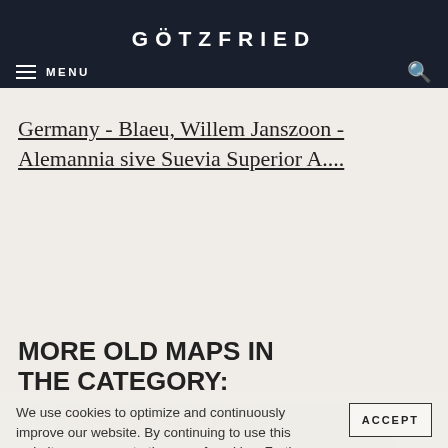GÖTZFRIED ANTIQUE MAPS
MENU
Germany - Blaeu, Willem Janszoon - Alemannia sive Suevia Superior A....
MORE OLD MAPS IN THE CATEGORY: GERMANY
We use cookies to optimize and continuously improve our website. By continuing to use this website, you agree to the use of cookies. Further information on cookies can be found in our Privacy Statement.